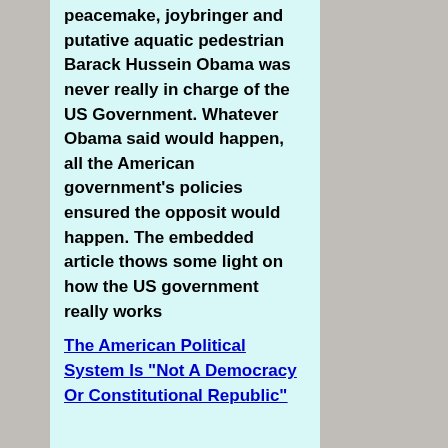peacemake, joybringer and putative aquatic pedestrian Barack Hussein Obama was never really in charge of the US Government. Whatever Obama said would happen, all the American government's policies ensured the opposit would happen. The embedded article thows some light on how the US government really works
The American Political System Is "Not A Democracy Or Constitutional Republic"